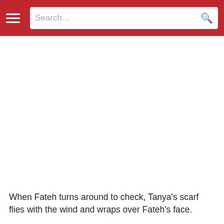Search...
When Fateh turns around to check, Tanya's scarf flies with the wind and wraps over Fateh's face.
Following the scarf, Tanya comes to Fateh while he takes off the scarf from his face.